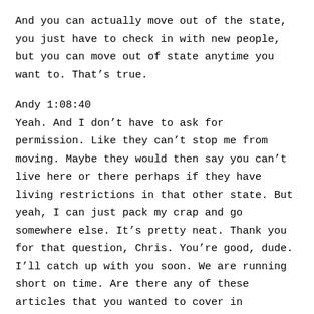And you can actually move out of the state, you just have to check in with new people, but you can move out of state anytime you want to. That’s true.
Andy 1:08:40
Yeah. And I don’t have to ask for permission. Like they can’t stop me from moving. Maybe they would then say you can’t live here or there perhaps if they have living restrictions in that other state. But yeah, I can just pack my crap and go somewhere else. It’s pretty neat. Thank you for that question, Chris. You’re good, dude. I’ll catch up with you soon. We are running short on time. Are there any of these articles that you wanted to cover in particular?